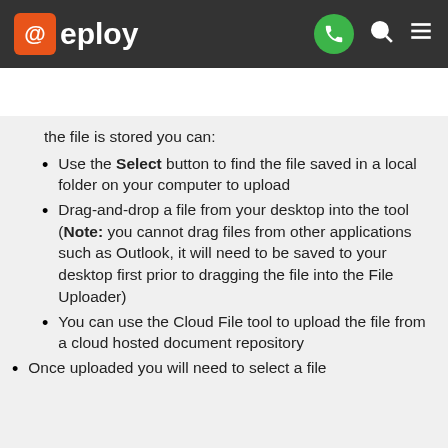@eploy
the file is stored you can:
Use the Select button to find the file saved in a local folder on your computer to upload
Drag-and-drop a file from your desktop into the tool (Note: you cannot drag files from other applications such as Outlook, it will need to be saved to your desktop first prior to dragging the file into the File Uploader)
You can use the Cloud File tool to upload the file from a cloud hosted document repository
Once uploaded you will need to select a file